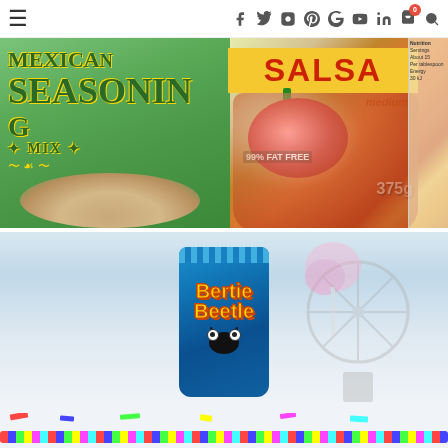Navigation bar with hamburger menu, social media icons (Facebook, Twitter, Instagram, Pinterest, Google+, YouTube, LinkedIn), shopping cart with badge 0, and search icon
[Figure (photo): Close-up photo of Mexican Seasoning Mix packet and a jar of Salsa (medium, 99% fat free, 375g) with tomatoes and vegetables visible on the label, with spices scattered in foreground]
[Figure (photo): Photo of a Bertie Beetle chocolate packet held up against a blurred fairground/funfair background with colourful streamers and confetti in the foreground]